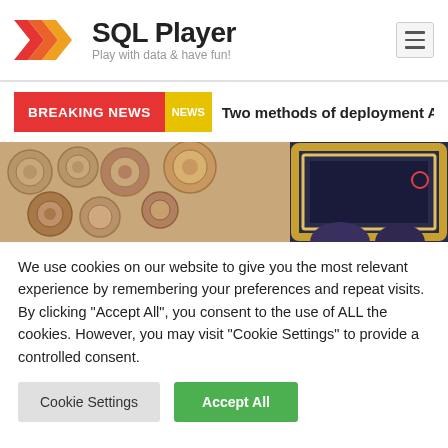[Figure (logo): SQL Player logo with orange/red chevron arrows and text 'SQL Player - Play with data & have fun!']
BREAKING NEWS  NEWS  Two methods of deployment Azure Data F
[Figure (photo): Photo of a wood log wall and a gilded picture frame with people in the foreground]
We use cookies on our website to give you the most relevant experience by remembering your preferences and repeat visits. By clicking "Accept All", you consent to the use of ALL the cookies. However, you may visit "Cookie Settings" to provide a controlled consent.
Cookie Settings
Accept All